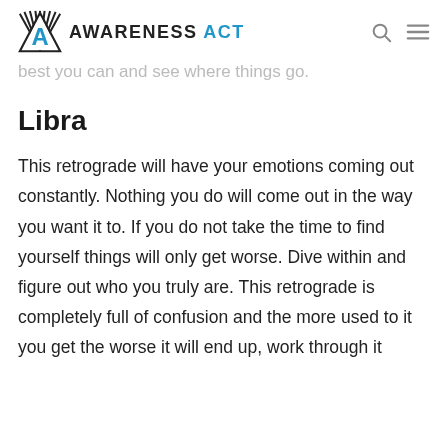AWARENESS ACT
best you can and see where things go.
Libra
This retrograde will have your emotions coming out constantly. Nothing you do will come out in the way you want it to. If you do not take the time to find yourself things will only get worse. Dive within and figure out who you truly are. This retrograde is completely full of confusion and the more used to it you get the worse it will end up, work through it